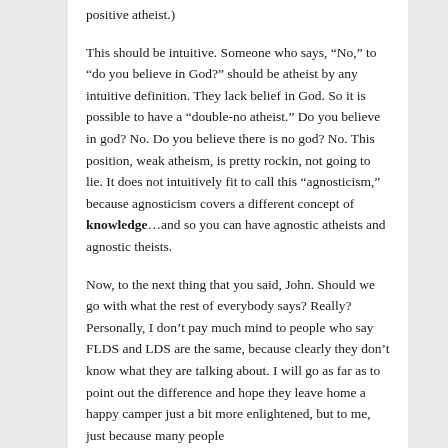positive atheist.)
This should be intuitive. Someone who says, “No,” to “do you believe in God?” should be atheist by any intuitive definition. They lack belief in God. So it is possible to have a “double-no atheist.” Do you believe in god? No. Do you believe there is no god? No. This position, weak atheism, is pretty rockin, not going to lie. It does not intuitively fit to call this “agnosticism,” because agnosticism covers a different concept of knowledge…and so you can have agnostic atheists and agnostic theists.
Now, to the next thing that you said, John. Should we go with what the rest of everybody says? Really? Personally, I don’t pay much mind to people who say FLDS and LDS are the same, because clearly they don’t know what they are talking about. I will go as far as to point out the difference and hope they leave home a happy camper just a bit more enlightened, but to me, just because many people